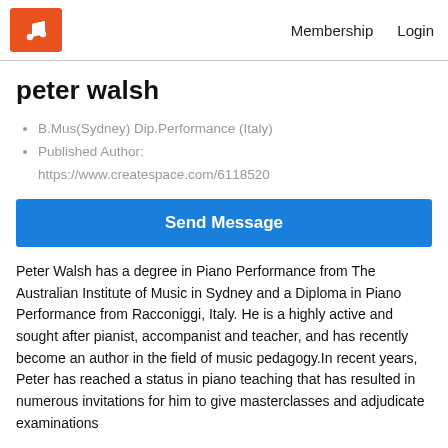Membership  Login
peter walsh
B.Mus(Sydney) Dip.Performance (Italy)
Published Author: https://www.createspace.com/6118520
Send Message
Peter Walsh has a degree in Piano Performance from The Australian Institute of Music in Sydney and a Diploma in Piano Performance from Racconiggi, Italy. He is a highly active and sought after pianist, accompanist and teacher, and has recently become an author in the field of music pedagogy.In recent years, Peter has reached a status in piano teaching that has resulted in numerous invitations for him to give masterclasses and adjudicate examinations